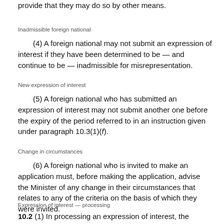provide that they may do so by other means.
Inadmissible foreign national
(4) A foreign national may not submit an expression of interest if they have been determined to be — and continue to be — inadmissible for misrepresentation.
New expression of interest
(5) A foreign national who has submitted an expression of interest may not submit another one before the expiry of the period referred to in an instruction given under paragraph 10.3(1)(f).
Change in circumstances
(6) A foreign national who is invited to make an application must, before making the application, advise the Minister of any change in their circumstances that relates to any of the criteria on the basis of which they were invited.
Expression of interest — processing
10.2 (1) In processing an expression of interest, the Minister
(a) is to determine whether the foreign national is eligible to